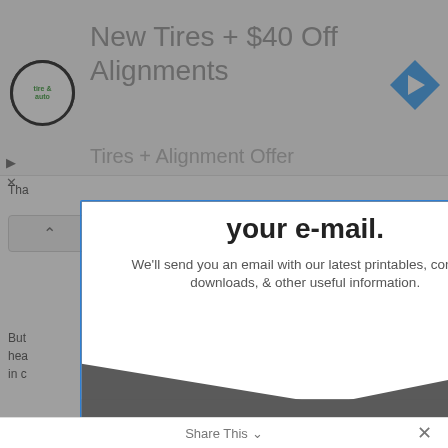[Figure (screenshot): Ad banner showing 'New Tires + $40 Off Alignments' with tire and auto logo and navigation icon]
your e-mail.
We'll send you an email with our latest printables, content, downloads, & other useful information.
[Figure (screenshot): Email input field with label 'Email' and a blue SUBSCRIBE! button below it]
Share This